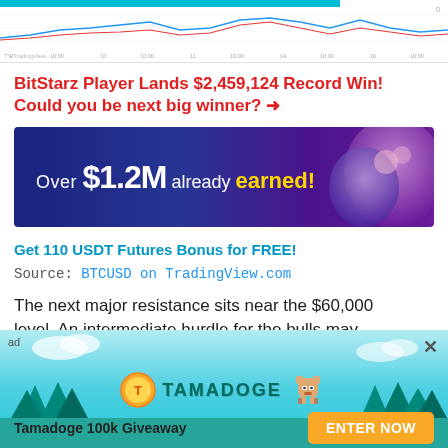[Figure (continuous-plot): TradingView chart strip showing BTCUSD price line chart, with colored lines on white background, TradingView watermark visible at bottom left]
BitStarz Player Lands $2,459,124 Record Win! Could you be next big winner?  →
[Figure (infographic): Dark blue/purple advertisement banner reading: Over $1.2M already earned! with decorative orb/character graphic on right side]
Get 110 USDT Futures Bonus for FREE!
Source:  BTCUSD on TradingView.com
The next major resistance sits near the $60,000 level. An intermediate hurdle for the bulls may
[Figure (infographic): Tamadoge advertisement banner with teal/cyan background, pine trees, Tamadoge coin logo, dog character, 'Tamadoge 100k Giveaway' text, and 'ENTER NOW' yellow button. Ad label and close button visible.]